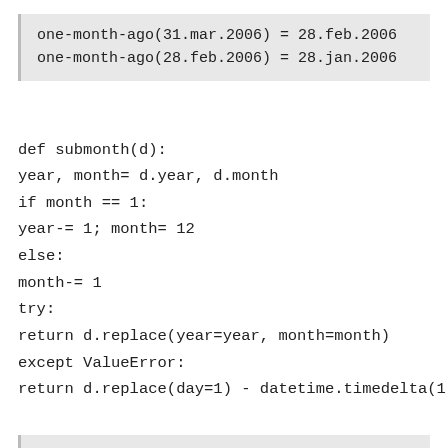one-month-ago(31.mar.2006) = 28.feb.2006
one-month-ago(28.feb.2006) = 28.jan.2006
def submonth(d):
year, month= d.year, d.month
if month == 1:
year-= 1; month= 12
else:
month-= 1
try:
return d.replace(year=year, month=month)
except ValueError:
return d.replace(day=1) - datetime.timedelta(1)